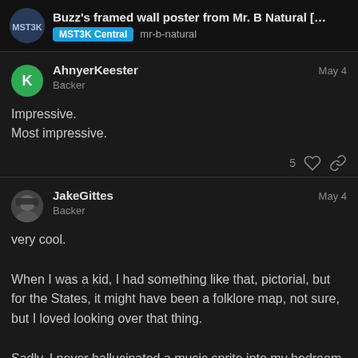Buzz's framed wall poster from Mr. B Natural [Reddit i... | MST3K Central | mr-b-natural
AhnyerKeester
Backer
May 4

Impressive.
Most impressive.
JakeGittes
Backer
May 4

very cool.

When I was a kid, I had something like that, pictorial, but for the States, it might have been a folklore map, not sure, but I loved looking over that thing.

Sadly, I never hallucinated a music sprite into my bedroom.